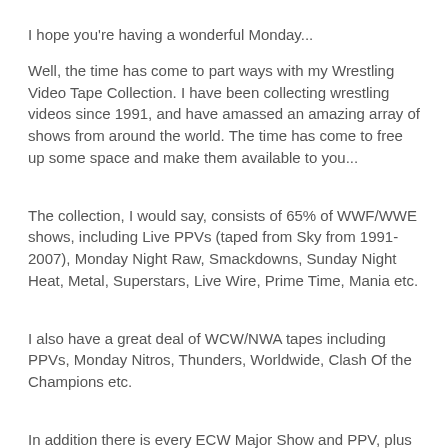I hope you're having a wonderful Monday...
Well, the time has come to part ways with my Wrestling Video Tape Collection. I have been collecting wrestling videos since 1991, and have amassed an amazing array of shows from around the world. The time has come to free up some space and make them available to you...
The collection, I would say, consists of 65% of WWF/WWE shows, including Live PPVs (taped from Sky from 1991-2007), Monday Night Raw, Smackdowns, Sunday Night Heat, Metal, Superstars, Live Wire, Prime Time, Mania etc.
I also have a great deal of WCW/NWA tapes including PPVs, Monday Nitros, Thunders, Worldwide, Clash Of the Champions etc.
In addition there is every ECW Major Show and PPV, plus some ECW Hardcore TV etc.